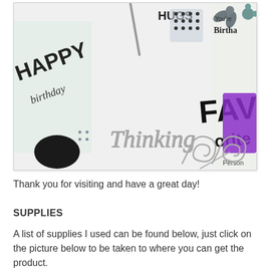[Figure (photo): A flat lay photo of crafting supplies including clear stamps with birthday and sentiment text, metal dies with decorative script and flourish designs, and a purple ink pad arranged on a white surface.]
Thank you for visiting and have a great day!
SUPPLIES
A list of supplies I used can be found below, just click on the picture below to be taken to where you can get the product.